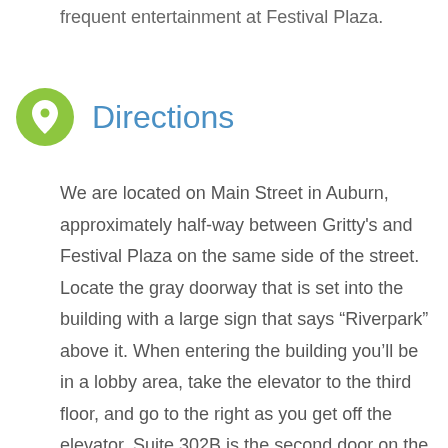frequent entertainment at Festival Plaza.
Directions
We are located on Main Street in Auburn, approximately half-way between Gritty’s and Festival Plaza on the same side of the street. Locate the gray doorway that is set into the building with a large sign that says “Riverpark” above it. When entering the building you’ll be in a lobby area, take the elevator to the third floor, and go to the right as you get off the elevator. Suite 302B is the second door on the left as you head down the hall.